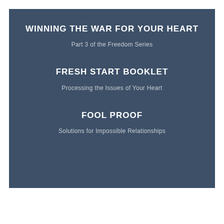WINNING THE WAR FOR YOUR HEART
Part 3 of the Freedom Series
FRESH START BOOKLET
Processing the Issues of Your Heart
FOOL PROOF
Solutions for Impossible Relationships